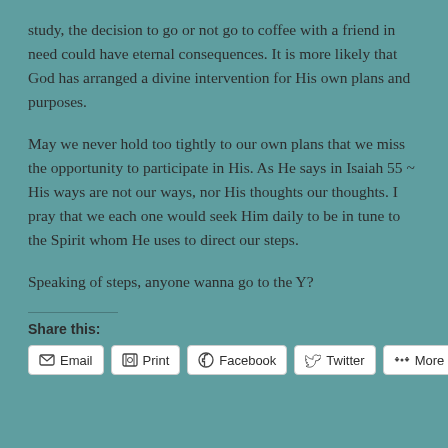study, the decision to go or not go to coffee with a friend in need could have eternal consequences. It is more likely that God has arranged a divine intervention for His own plans and purposes.
May we never hold too tightly to our own plans that we miss the opportunity to participate in His. As He says in Isaiah 55 ~ His ways are not our ways, nor His thoughts our thoughts. I pray that we each one would seek Him daily to be in tune to the Spirit whom He uses to direct our steps.
Speaking of steps, anyone wanna go to the Y?
Share this: